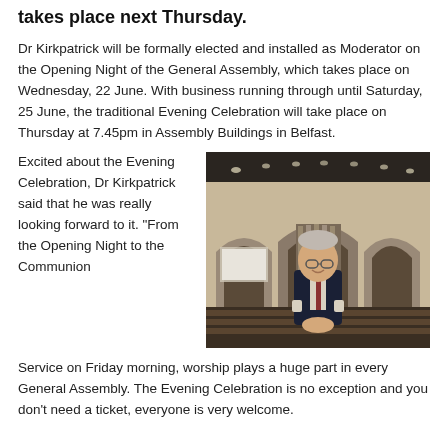takes place next Thursday.
Dr Kirkpatrick will be formally elected and installed as Moderator on the Opening Night of the General Assembly, which takes place on Wednesday, 22 June. With business running through until Saturday, 25 June, the traditional Evening Celebration will take place on Thursday at 7.45pm in Assembly Buildings in Belfast.
[Figure (photo): Man in dark suit standing inside a large ornate church hall with gothic arched windows and tiered seating, smiling at the camera.]
Excited about the Evening Celebration, Dr Kirkpatrick said that he was really looking forward to it. "From the Opening Night to the Communion Service on Friday morning, worship plays a huge part in every General Assembly. The Evening Celebration is no exception and you don't need a ticket, everyone is very welcome.